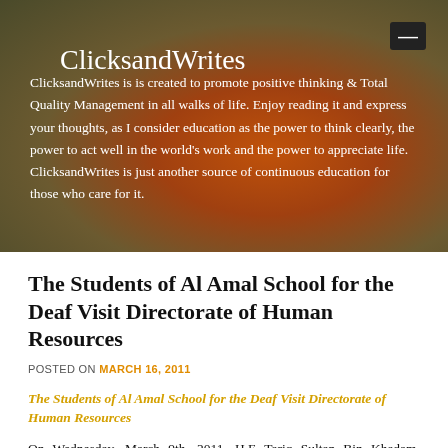ClicksandWrites
ClicksandWrites is is created to promote positive thinking & Total Quality Management in all walks of life. Enjoy reading it and express your thoughts, as I consider education as the power to think clearly, the power to act well in the world's work and the power to appreciate life. ClicksandWrites is just another source of continuous education for those who care for it.
The Students of Al Amal School for the Deaf Visit Directorate of Human Resources
POSTED ON MARCH 16, 2011
The Students of Al Amal School for the Deaf Visit Directorate of Human Resources
On Wednesday, March 9th, 2011, H.E Tariq Sultan Bin Khadam, Chairman of Directorate of Human Resources—United Arab